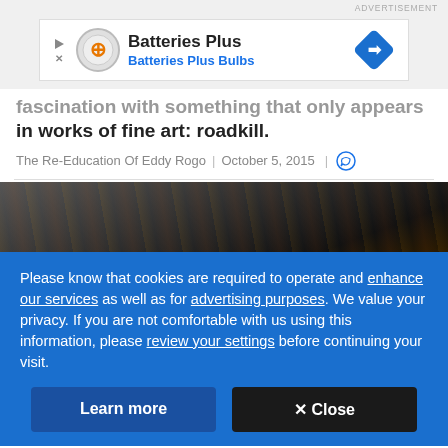[Figure (other): Advertisement banner for Batteries Plus / Batteries Plus Bulbs with orange logo circle, play arrow, close X icons, and blue diamond arrow sign on the right]
...fascination with something that only appears in works of fine art: roadkill.
The Re-Education Of Eddy Rogo | October 5, 2015 |
[Figure (photo): Dark interior photo strip showing industrial or garage-like setting]
Please know that cookies are required to operate and enhance our services as well as for advertising purposes. We value your privacy. If you are not comfortable with us using this information, please review your settings before continuing your visit.
Learn more   ✕ Close